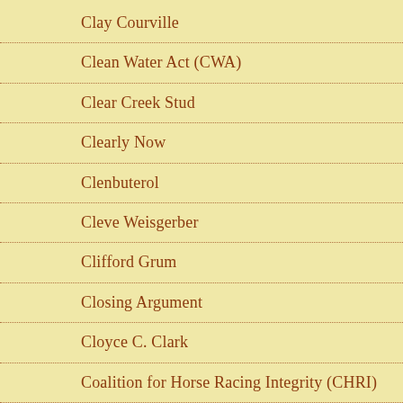Clay Courville
Clean Water Act (CWA)
Clear Creek Stud
Clearly Now
Clenbuterol
Cleve Weisgerber
Clifford Grum
Closing Argument
Cloyce C. Clark
Coalition for Horse Racing Integrity (CHRI)